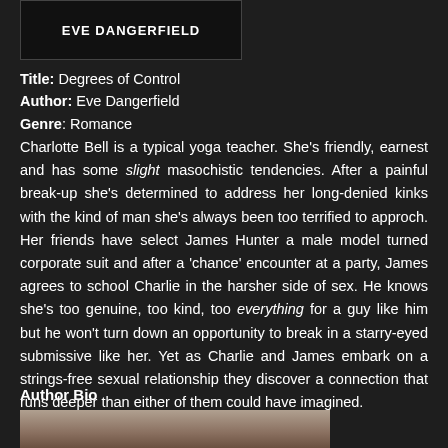[Figure (photo): Book cover with text EVE DANGERFIELD on dark background]
Title: Degrees of Control
Author: Eve Dangerfield
Genre: Romance
Charlotte Bell is a typical yoga teacher. She's friendly, earnest and has some slight masochistic tendencies. After a painful break-up she's determined to address her long-denied kinks with the kind of man she's always been too terrified to approch. Her friends have select James Hunter a male model turned corporate suit and after a 'chance' encounter at a party, James agrees to school Charlie in the harsher side of sex. He knows she's too genuine, too kind, too everything for a guy like him but he won't turn down an opportunity to break in a starry-eyed submissive like her. Yet as Charlie and James embark on a strings-free sexual relationship they discover a connection that runs deeper than either of them could have imagined.
Author Bio
[Figure (photo): Author photo showing a person, partially visible at bottom of page]